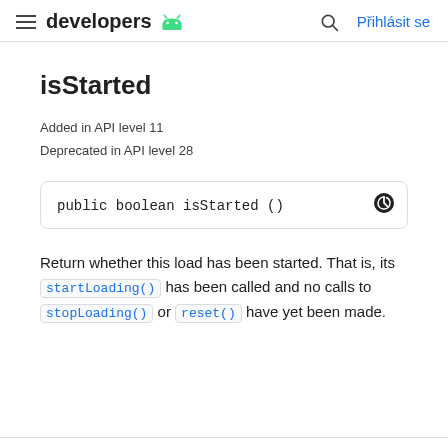developers  Přihlásit se
isStarted
Added in API level 11
Deprecated in API level 28
public boolean isStarted ()
Return whether this load has been started. That is, its startLoading() has been called and no calls to stopLoading() or reset() have yet been made.